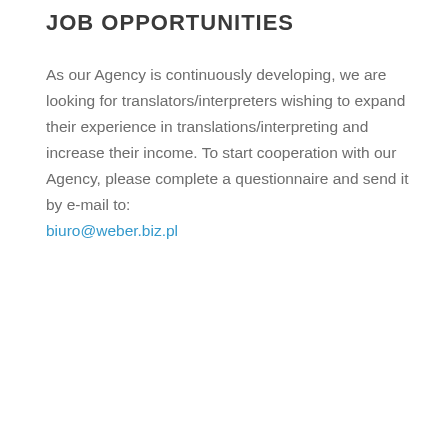JOB OPPORTUNITIES
As our Agency is continuously developing, we are looking for translators/interpreters wishing to expand their experience in translations/interpreting and increase their income. To start cooperation with our Agency, please complete a questionnaire and send it by e-mail to: biuro@weber.biz.pl